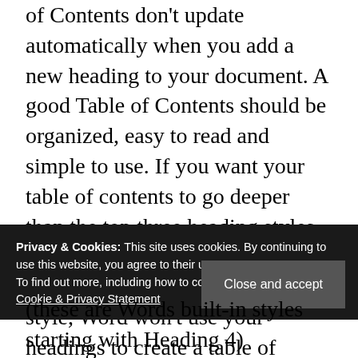of Contents don't update automatically when you add a new heading to your document. A good Table of Contents should be organized, easy to read and simple to use. If you want your table of contents to go deeper than the top three heading styles, you can do that, too. Note: If you use a Manual Table of Contents style, Word won't use your headings to create a table of contents and won't be able to update it automatically. and the resulting Table of Contents would only contain: Subsection A; Subsection B; Displayed text. If you want to customize what is displayed, add a data-toc-text attribute to … He worked at Synology, and most recently as CMO and technical staff writer at StorageReview. Kim lives in Kansas with her husband. You can generate a table of contents in Word from the headings used in
Privacy & Cookies: This site uses cookies. By continuing to use this website, you agree to their use.
To find out more, including how to control cookies, see here: Cookie & Privacy Statement
(these are Words built-in styles starting with Heading 4)